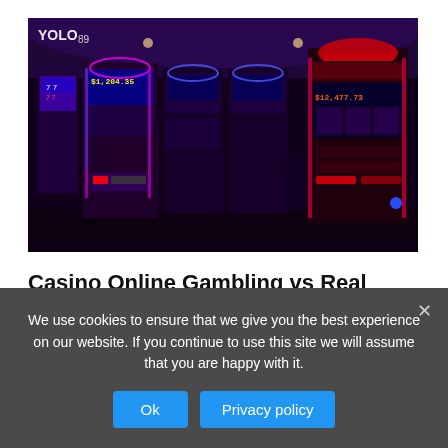[Figure (photo): Interior of a casino showing rows of colorful slot machines with neon lights in purple and red hues. A 'YOLO89' logo is visible in the top left. Machines display various numbers and jackpot amounts including $1,204.35 and $12,477.73.]
Casino Online Gambling vs Real Casinos
blog83   September 4, 2022
We use cookies to ensure that we give you the best experience on our website. If you continue to use this site we will assume that you are happy with it.
Ok   Privacy policy